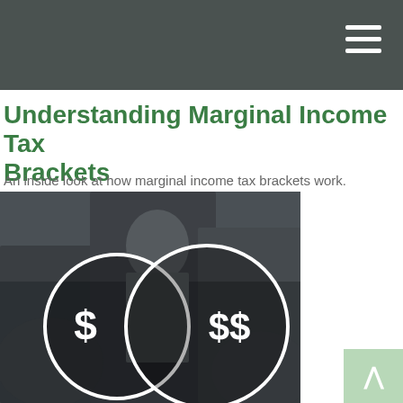Understanding Marginal Income Tax Brackets
An inside look at how marginal income tax brackets work.
[Figure (photo): Business people in a meeting room with two overlapping circles containing dollar signs ($ and $$) overlaid, suggesting different income tax brackets.]